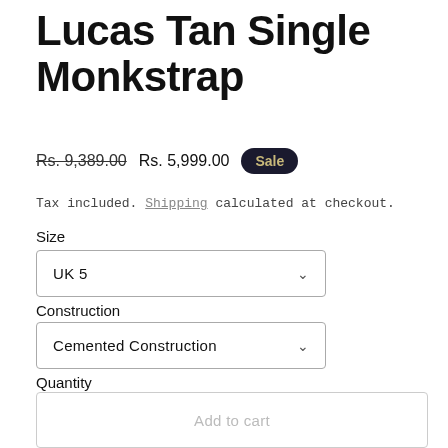Lucas Tan Single Monkstrap
Rs. 9,389.00  Rs. 5,999.00  Sale
Tax included. Shipping calculated at checkout.
Size
UK 5
Construction
Cemented Construction
Quantity
Chat with us
Add to cart